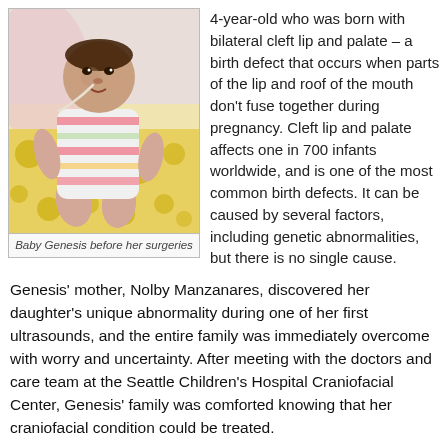[Figure (photo): Baby Genesis sitting up, wearing a striped pink and white outfit with a medical tube visible, sitting on a yellow patterned blanket/surface, photographed before her surgeries.]
Baby Genesis before her surgeries
4-year-old who was born with bilateral cleft lip and palate – a birth defect that occurs when parts of the lip and roof of the mouth don't fuse together during pregnancy. Cleft lip and palate affects one in 700 infants worldwide, and is one of the most common birth defects. It can be caused by several factors, including genetic abnormalities, but there is no single cause.
Genesis' mother, Nolby Manzanares, discovered her daughter's unique abnormality during one of her first ultrasounds, and the entire family was immediately overcome with worry and uncertainty. After meeting with the doctors and care team at the Seattle Children's Hospital Craniofacial Center, Genesis' family was comforted knowing that her craniofacial condition could be treated.